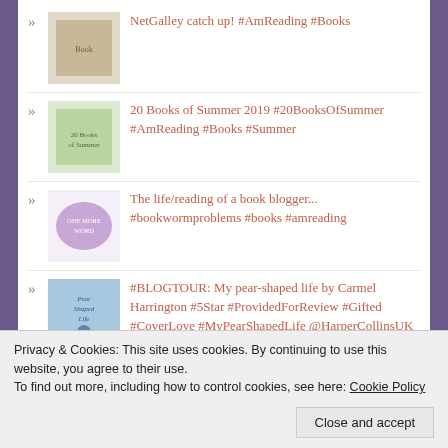NetGalley catch up! #AmReading #Books
20 Books of Summer 2019 #20BooksOfSummer #AmReading #Books #Summer
The life/reading of a book blogger... #bookwormproblems #books #amreading
#BLOGTOUR: My pear-shaped life by Carmel Harrington #5Star #ProvidedForReview #Gifted #CoverLove #MyPearShapedLife @HarperCollinsUK @fictionpubteam @HappyMrsH @annecater
#BLOGTOUR: He started it by Samantha
Privacy & Cookies: This site uses cookies. By continuing to use this website, you agree to their use.
To find out more, including how to control cookies, see here: Cookie Policy